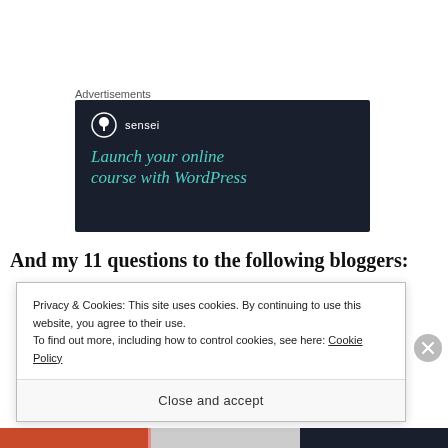Advertisements
[Figure (infographic): Sensei advertisement banner with dark navy background. Shows Sensei logo (circle with tree icon) and tagline 'Launch your online course with WordPress' in teal/green italic text.]
And my 11 questions to the following bloggers:
Privacy & Cookies: This site uses cookies. By continuing to use this website, you agree to their use.
To find out more, including how to control cookies, see here: Cookie Policy
Close and accept